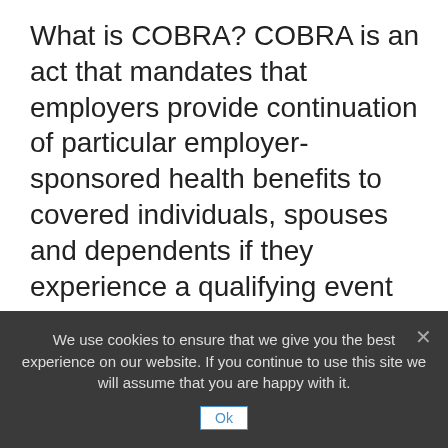What is COBRA? COBRA is an act that mandates that employers provide continuation of particular employer-sponsored health benefits to covered individuals, spouses and dependents if they experience a qualifying event that normally prompts a loss of coverage.Through COBRA, the employer is expected to grant “qualified beneficiaries” the option to continue to utilize their health insurance under the plan for 18, 29 or 36 months, contingent on the “qualifying event” that entitles the
We use cookies to ensure that we give you the best experience on our website. If you continue to use this site we will assume that you are happy with it.